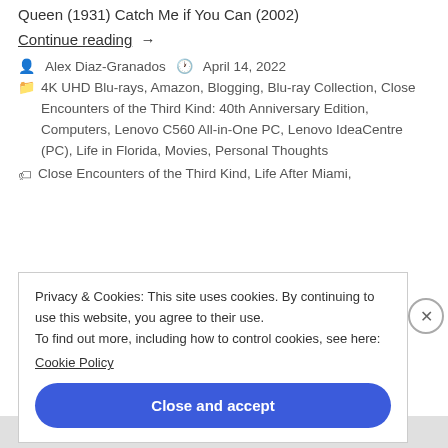Queen (1931) Catch Me if You Can (2002)
Continue reading →
Alex Diaz-Granados   April 14, 2022
4K UHD Blu-rays, Amazon, Blogging, Blu-ray Collection, Close Encounters of the Third Kind: 40th Anniversary Edition, Computers, Lenovo C560 All-in-One PC, Lenovo IdeaCentre (PC), Life in Florida, Movies, Personal Thoughts
Close Encounters of the Third Kind, Life After Miami,
Privacy & Cookies: This site uses cookies. By continuing to use this website, you agree to their use. To find out more, including how to control cookies, see here: Cookie Policy
Close and accept